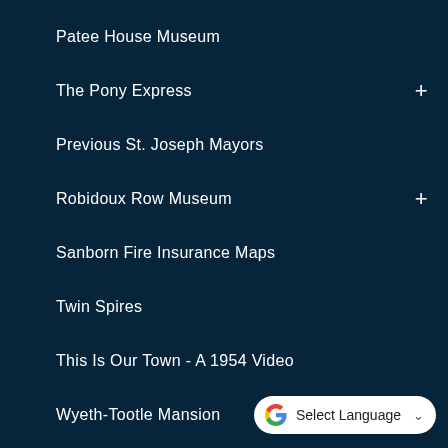Patee House Museum
The Pony Express +
Previous St. Joseph Mayors
Robidoux Row Museum +
Sanborn Fire Insurance Maps
Twin Spires
This Is Our Town - A 1954 Video
Wyeth-Tootle Mansion
[Figure (logo): Google G logo with Select Language dropdown button]